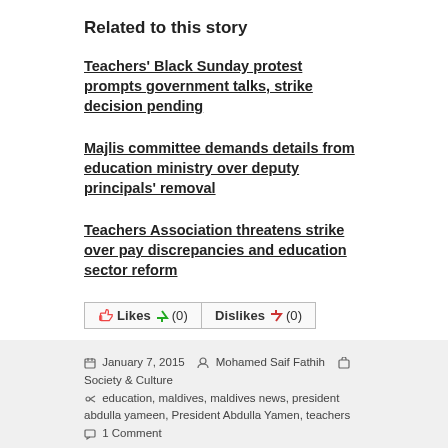Related to this story
Teachers' Black Sunday protest prompts government talks, strike decision pending
Majlis committee demands details from education ministry over deputy principals' removal
Teachers Association threatens strike over pay discrepancies and education sector reform
Likes (0)   Dislikes (0)
January 7, 2015   Mohamed Saif Fathih   Society & Culture   education, maldives, maldives news, president abdulla yameen, President Abdulla Yamen, teachers   1 Comment